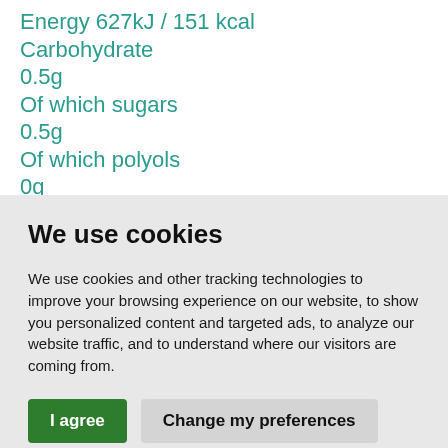Energy 627kJ / 151 kcal
Carbohydrate
0.5g
Of which sugars
0.5g
Of which polyols
0g
We use cookies
We use cookies and other tracking technologies to improve your browsing experience on our website, to show you personalized content and targeted ads, to analyze our website traffic, and to understand where our visitors are coming from.
I agree | Change my preferences